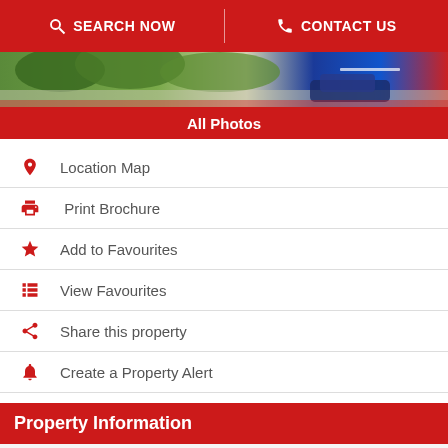SEARCH NOW | CONTACT US
[Figure (photo): Partial photo strip showing trees/greenery and a car, bottom portion of a property listing photo]
All Photos
Location Map
Print Brochure
Add to Favourites
View Favourites
Share this property
Create a Property Alert
Property Information
Price: €795 000
Ref: RV196102